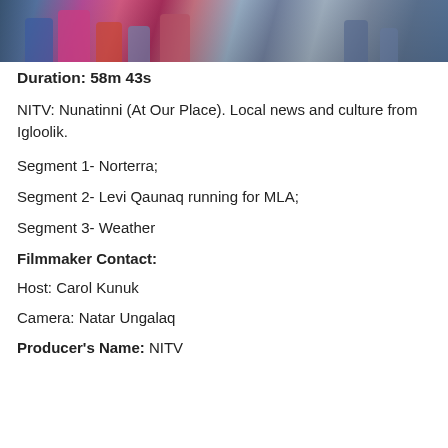[Figure (photo): Photo of people in colorful winter clothing outdoors in sunlight]
Duration: 58m 43s
NITV: Nunatinni (At Our Place). Local news and culture from Igloolik.
Segment 1- Norterra;
Segment 2- Levi Qaunaq running for MLA;
Segment 3- Weather
Filmmaker Contact:
Host: Carol Kunuk
Camera: Natar Ungalaq
Producer's Name: NITV